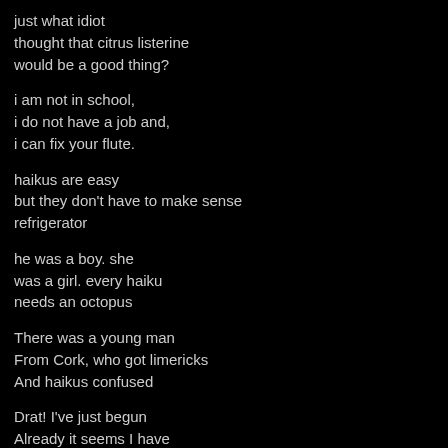just what idiot
thought that citrus listerine
would be a good thing?
i am not in school,
i do not have a job and,
i can fix your flute.
haikus are easy
but they don't have to make sense
refrigerator
he was a boy. she
was a girl. every haiku
needs an octopus
There was a young man
From Cork, who got limericks
And haikus confused
Drat! I've just begun
Already it seems I have
Run out of syllab...
Poor haiku art form